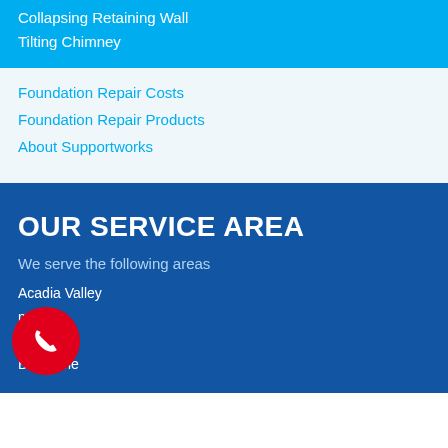Collapsing Retaining Wall
Tilting Chimney
Foundation Repair Costs
Foundation Repair Products
About Supportworks
OUR SERVICE AREA
We serve the following areas
Acadia Valley
m
owell
Big Stone